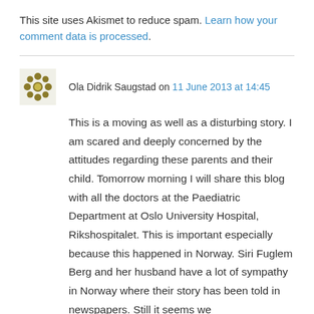This site uses Akismet to reduce spam. Learn how your comment data is processed.
Ola Didrik Saugstad on 11 June 2013 at 14:45
This is a moving as well as a disturbing story. I am scared and deeply concerned by the attitudes regarding these parents and their child. Tomorrow morning I will share this blog with all the doctors at the Paediatric Department at Oslo University Hospital, Rikshospitalet. This is important especially because this happened in Norway. Siri Fuglem Berg and her husband have a lot of sympathy in Norway where their story has been told in newspapers. Still it seems we